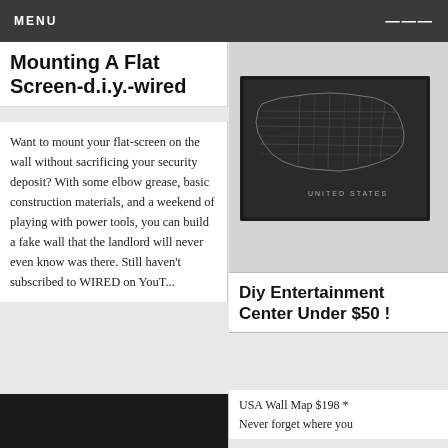MENU
Mounting A Flat Screen-d.i.y.-wired
Want to mount your flat-screen on the wall without sacrificing your security deposit? With some elbow grease, basic construction materials, and a weekend of playing with power tools, you can build a fake wall that the landlord will never even know was there. Still haven't subscribed to WIRED on YouTu...
[Figure (photo): Vintage-style dark map of the United States with state outlines labeled 'UNITED STATES']
Diy Entertainment Center Under $50 !
USA Wall Map $198 * Never forget where you